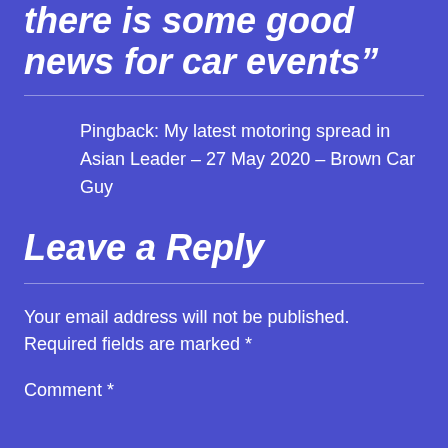there is some good news for car events”
Pingback: My latest motoring spread in Asian Leader – 27 May 2020 – Brown Car Guy
Leave a Reply
Your email address will not be published. Required fields are marked *
Comment *